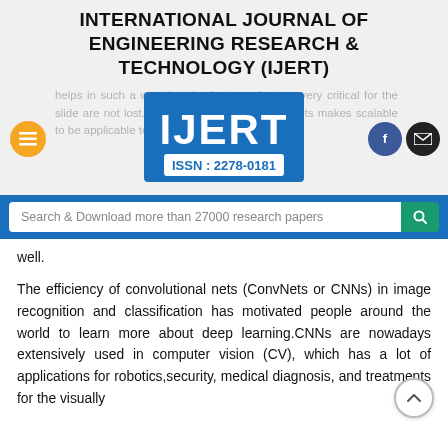INTERNATIONAL JOURNAL OF ENGINEERING RESEARCH & TECHNOLOGY (IJERT)
[Figure (logo): IJERT logo with text 'IJERT' and 'ISSN: 2278-0181', surrounded by navigation buttons (hamburger, Facebook, email) and faded background text about convolutional nets and large datasets]
[Figure (other): Search bar with placeholder 'Search & Download more than 27000 research papers' and green search button]
well.

The efficiency of convolutional nets (ConvNets or CNNs) in image recognition and classification has motivated people around the world to learn more about deep learning.CNNs are nowadays extensively used in computer vision (CV), which has a lot of applications for robotics,security, medical diagnosis, and treatments for the visually